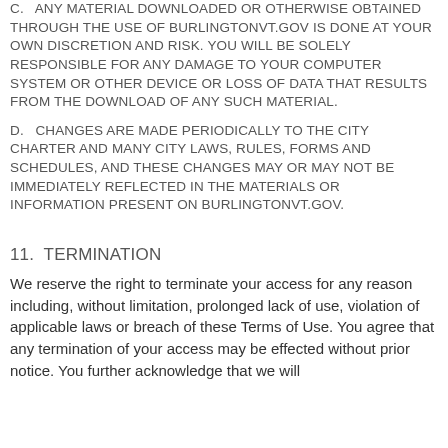C.   ANY MATERIAL DOWNLOADED OR OTHERWISE OBTAINED THROUGH THE USE OF BURLINGTONVT.GOV IS DONE AT YOUR OWN DISCRETION AND RISK. YOU WILL BE SOLELY RESPONSIBLE FOR ANY DAMAGE TO YOUR COMPUTER SYSTEM OR OTHER DEVICE OR LOSS OF DATA THAT RESULTS FROM THE DOWNLOAD OF ANY SUCH MATERIAL.
D.   CHANGES ARE MADE PERIODICALLY TO THE CITY CHARTER AND MANY CITY LAWS, RULES, FORMS AND SCHEDULES, AND THESE CHANGES MAY OR MAY NOT BE IMMEDIATELY REFLECTED IN THE MATERIALS OR INFORMATION PRESENT ON BURLINGTONVT.GOV.
11.  TERMINATION
We reserve the right to terminate your access for any reason including, without limitation, prolonged lack of use, violation of applicable laws or breach of these Terms of Use. You agree that any termination of your access may be effected without prior notice. You further acknowledge that we will